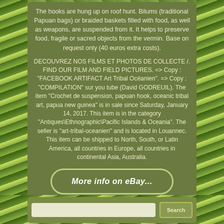The hooks are hung up on roof hunt. Bilums (traditional Papuan bags) or braided baskets filled with food, as well as weapons, are suspended from it. It helps to preserve food, fragile or sacred objects from the vermin. Base on request only (40 euros extra costs).
DECOUVREZ NOS FILMS ET PHOTOS DE COLLECTE /. FIND OUR FILM AND FIELD PICTURES. => Copy : "FACEBOOK ARTIFACT Art Tribal Océanien". => Copy : "COMPILATION" sur you tube (David GODREUIL). The item "Crochet de suspension, papuan hook, oceanic tribal art, papua new guinea" is in sale since Saturday, January 14, 2017. This item is in the category "Antiques\Ethnographic\Pacific Islands & Oceania". The seller is "art-tribal-oceanien" and is located in Louannec. This item can be shipped to North, South, or Latin America, all countries in Europe, all countries in continental Asia, Australia.
[Figure (other): eBay listing link button with rounded green border reading 'More info on eBay...']
[Figure (other): Social sharing buttons: Facebook (blue), Twitter (light blue), Pinterest (red), Email (gray)]